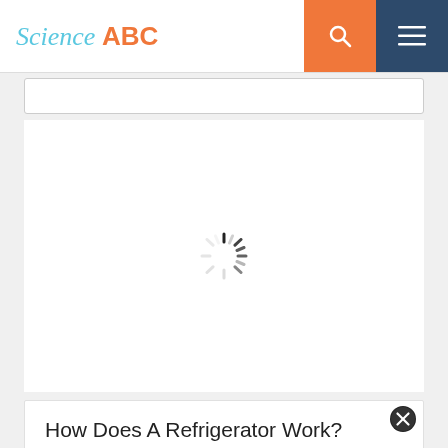Science ABC
[Figure (other): Loading spinner (animated CSS spinner placeholder) in white content area]
How Does A Refrigerator Work?
November 15, 2015